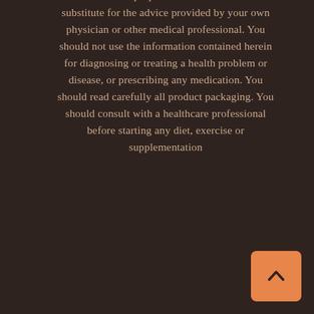informational purposes and is not meant to substitute for the advice provided by your own physician or other medical professional. You should not use the information contained herein for diagnosing or treating a health problem or disease, or prescribing any medication. You should read carefully all product packaging. You should consult with a healthcare professional before starting any diet, exercise or supplementation
[Figure (other): Orange rounded square button with an upward-pointing caret/arrow icon (back to top button), positioned in the bottom-right corner]